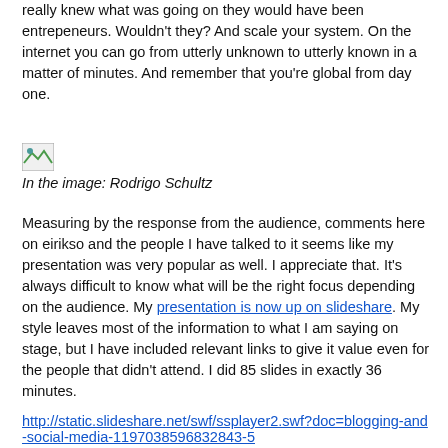really knew what was going on they would have been entrepeneurs. Wouldn't they? And scale your system. On the internet you can go from utterly unknown to utterly known in a matter of minutes. And remember that you're global from day one.
[Figure (photo): Small broken/placeholder image icon]
In the image: Rodrigo Schultz
Measuring by the response from the audience, comments here on eirikso and the people I have talked to it seems like my presentation was very popular as well. I appreciate that. It's always difficult to know what will be the right focus depending on the audience. My presentation is now up on slideshare. My style leaves most of the information to what I am saying on stage, but I have included relevant links to give it value even for the people that didn't attend. I did 85 slides in exactly 36 minutes.
http://static.slideshare.net/swf/ssplayer2.swf?doc=blogging-and-social-media-1197038596832843-5